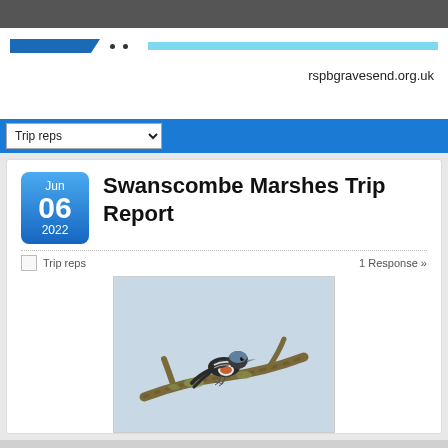rspbgravesend.org.uk
Trip reps
Swanscombe Marshes Trip Report
Trip reps  1 Response »
[Figure (photo): A chaffinch bird perched on a mossy branch against a pale blue-grey sky background]